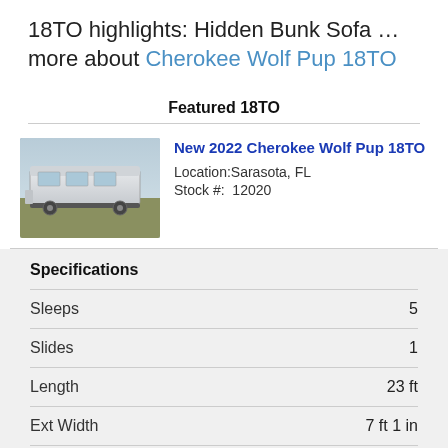18TO highlights: Hidden Bunk Sofa … more about Cherokee Wolf Pup 18TO
Featured 18TO
[Figure (photo): Photo of a travel trailer RV parked outdoors]
New 2022 Cherokee Wolf Pup 18TO
Location: Sarasota, FL
Stock #: 12020
Specifications
|  |  |
| --- | --- |
| Sleeps | 5 |
| Slides | 1 |
| Length | 23 ft |
| Ext Width | 7 ft 1 in |
| Ext Height | 10 ft 6 in |
| Hitch Weight | 437 lbs |